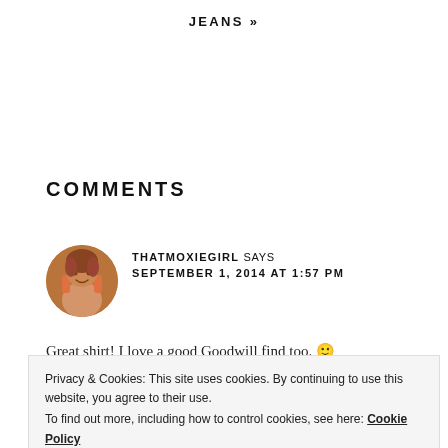JEANS »
COMMENTS
THATMOXIEGIRL SAYS
SEPTEMBER 1, 2014 AT 1:57 PM
Great shirt! I love a good Goodwill find too. 🙂
Privacy & Cookies: This site uses cookies. By continuing to use this website, you agree to their use.
To find out more, including how to control cookies, see here: Cookie Policy
Close and accept
MELISSA Q. SAYS